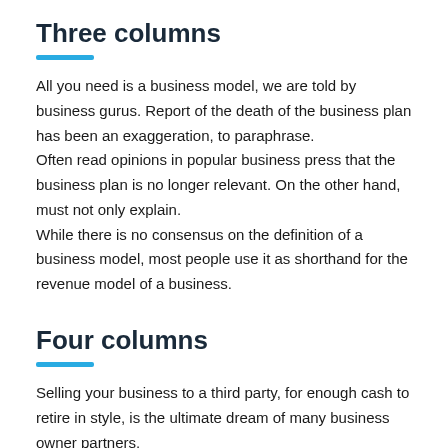Three columns
All you need is a business model, we are told by business gurus. Report of the death of the business plan has been an exaggeration, to paraphrase. Often read opinions in popular business press that the business plan is no longer relevant. On the other hand, must not only explain. While there is no consensus on the definition of a business model, most people use it as shorthand for the revenue model of a business.
Four columns
Selling your business to a third party, for enough cash to retire in style, is the ultimate dream of many business owner partners.